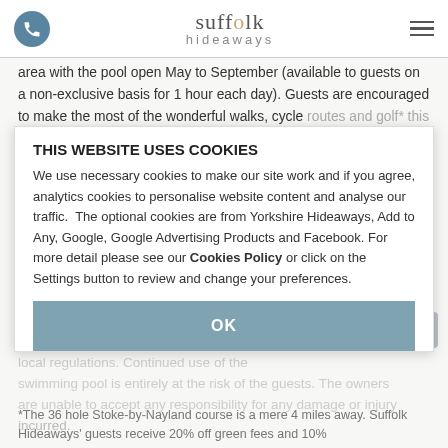Suffolk Hideaways
area with the pool open May to September (available to guests on a non-exclusive basis for 1 hour each day). Guests are encouraged to make the most of the wonderful walks, cycle routes and golf* this area has to offer. Personal training, yoga and tennis coaching are available by prior arrangement, please call the Suffolk Hideaways' office for more details. There is also the opportunity to arrange clay pigeon shooting, fishing or horse riding in the area, please call the Suffolk Hideaways' office for more information.
THIS WEBSITE USES COOKIES
We use necessary cookies to make our site work and if you agree, analytics cookies to personalise website content and analyse our traffic. The optional cookies are from Yorkshire Hideaways, Add to Any, Google, Google Advertising Products and Facebook. For more detail please see our Cookies Policy or click on the Settings button to review and change your preferences.
Please note that guests make use of the swimming pool at their own risk. Access to the pool may be restricted to ensure compliance with local regulations. Continued use of the swimming pool is entirely at the risk of the guests. The owners are unable to accept any responsibility for any damage or injury incurred.
*The 36 hole Stoke-by-Nayland course is a mere 4 miles away. Suffolk Hideaways' guests receive 20% off green fees and 10%